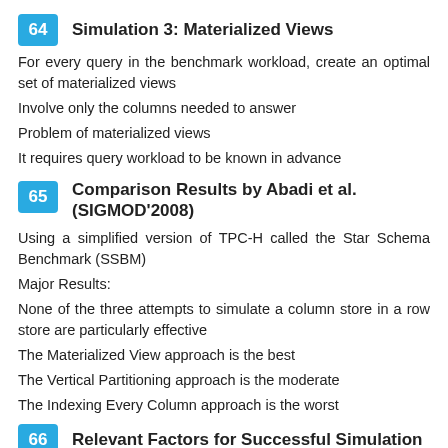64 Simulation 3: Materialized Views
For every query in the benchmark workload, create an optimal set of materialized views
Involve only the columns needed to answer
Problem of materialized views
It requires query workload to be known in advance
65 Comparison Results by Abadi et al. (SIGMOD'2008)
Using a simplified version of TPC-H called the Star Schema Benchmark (SSBM)
Major Results:
None of the three attempts to simulate a column store in a row store are particularly effective
The Materialized View approach is the best
The Vertical Partitioning approach is the moderate
The Indexing Every Column approach is the worst
66 Relevant Factors for Successful Simulation
For successfully simulating a column store in a row store, we may have to